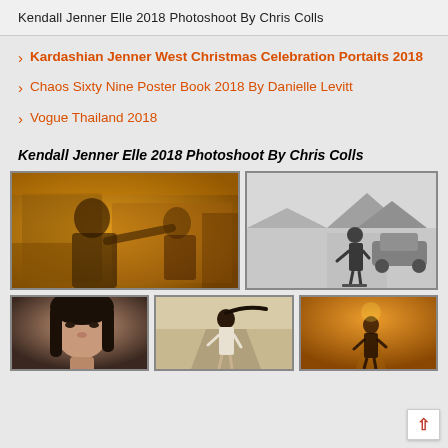Kendall Jenner Elle 2018 Photoshoot By Chris Colls
Kardashian Jenner West Christmas Celebration Portaits 2018
Chaos Sixty Nine Poster Book 2018 By Danielle Levitt
Vogue Thailand 2018
Kendall Jenner Elle 2018 Photoshoot By Chris Colls
[Figure (photo): Two-photo grid row: left photo shows Kendall Jenner inside a car in warm golden tones; right photo is black and white showing a woman on a desert road with a vintage car]
[Figure (photo): Three-photo partial row: close-up portrait of woman with dark hair; woman walking on a desert road; woman on a road in golden sunset tones]